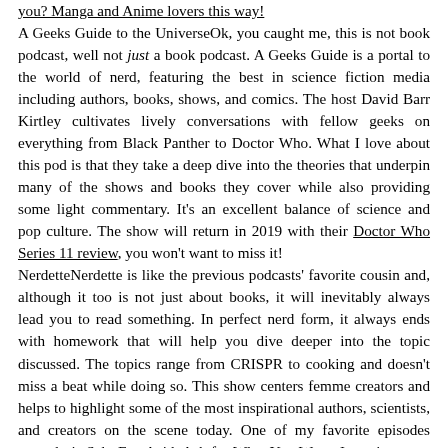you? Manga and Anime lovers this way! A Geeks Guide to the UniverseOk, you caught me, this is not book podcast, well not just a book podcast. A Geeks Guide is a portal to the world of nerd, featuring the best in science fiction media including authors, books, shows, and comics. The host David Barr Kirtley cultivates lively conversations with fellow geeks on everything from Black Panther to Doctor Who. What I love about this pod is that they take a deep dive into the theories that underpin many of the shows and books they cover while also providing some light commentary. It's an excellent balance of science and pop culture. The show will return in 2019 with their Doctor Who Series 11 review, you won't want to miss it! NerdetteNerdette is like the previous podcasts' favorite cousin and, although it too is not just about books, it will inevitably always lead you to read something. In perfect nerd form, it always ends with homework that will help you dive deeper into the topic discussed. The topics range from CRISPR to cooking and doesn't miss a beat while doing so. This show centers femme creators and helps to highlight some of the most inspirational authors, scientists, and creators on the scene today. One of my favorite episodes recently is Salt, Fat, Acid, Ask for What You Want. Jump in at any episode and you're sure to find